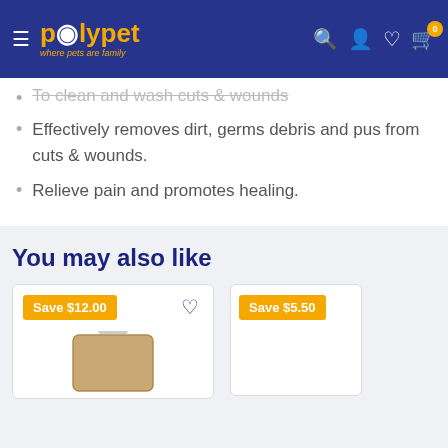polypet — where pets are family
To clean and wash cuts & wounds
Effectively removes dirt, germs debris and pus from cuts & wounds.
Relieve pain and promotes healing.
You may also like
[Figure (other): Product card with Save $12.00 badge and heart icon, showing a product image (brown kraft bag)]
[Figure (other): Product card with Save $5.50 badge, partially visible]